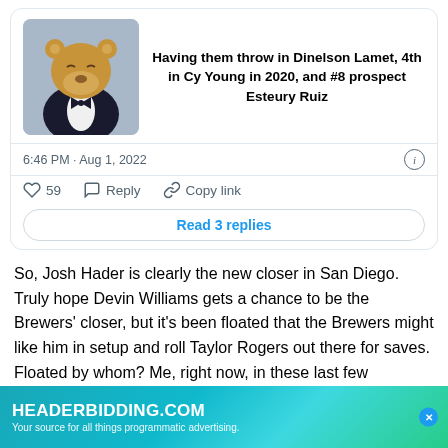[Figure (screenshot): Tweet card showing a Tuxedo Winnie the Pooh meme image on the left and tweet text on the right reading: 'Having them throw in Dinelson Lamet, 4th in Cy Young in 2020, and #8 prospect Esteury Ruiz'. Meta shows 6:46 PM · Aug 1, 2022. Actions: 59 likes, Reply, Copy link. Read 3 replies button.]
So, Josh Hader is clearly the new closer in San Diego. Truly hope Devin Williams gets a chance to be the Brewers' closer, but it's been floated that the Brewers might like him in setup and roll Taylor Rogers out there for saves. Floated by whom? Me, right now, in these last few sentences. As for Esteury Ruiz, he was sent down, and Lamet is likely to be used in a similar r…ate Hudson… I saw
[Figure (screenshot): HEADERBIDDING.COM advertisement banner: 'Your source for all things programmatic advertising.' with teal/green gradient background and blue X close button.]